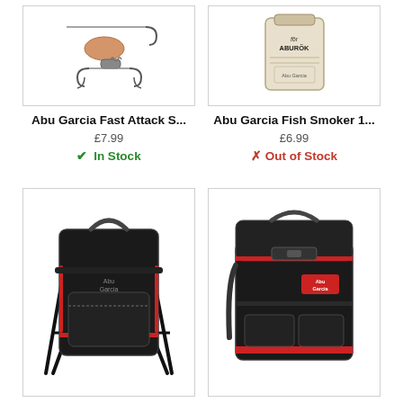[Figure (photo): Fishing lure / spinner bait product photo on white background]
[Figure (photo): Abu Garcia Fish Smoker product in cloth bag on white background]
Abu Garcia Fast Attack S...
Abu Garcia Fish Smoker 1...
£7.99
£6.99
✔ In Stock
✗ Out of Stock
[Figure (photo): Abu Garcia Fishing 20L backpack/seat combination in black with red trim]
[Figure (photo): Abu Garcia Fishing All-Round bag in black with red trim and shoulder strap]
Abu Garcia Fishing 20L R...
Abu Garcia Fishing All-Ro...
£31.99
£19.99